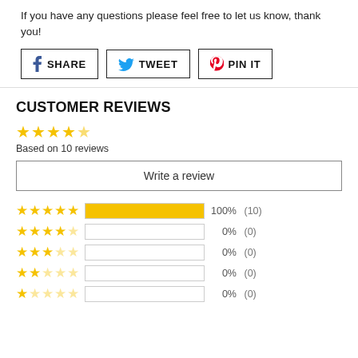If you have any questions please feel free to let us know, thank you!
[Figure (other): Social share buttons: Facebook SHARE, Twitter TWEET, Pinterest PIN IT]
CUSTOMER REVIEWS
Based on 10 reviews
Write a review
[Figure (bar-chart): Star rating distribution]